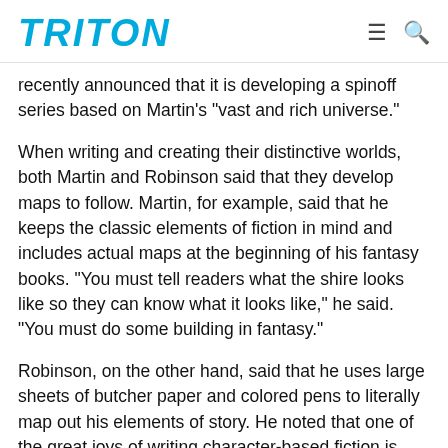TRITON
recently announced that it is developing a spinoff series based on Martin’s “vast and rich universe.”
When writing and creating their distinctive worlds, both Martin and Robinson said that they develop maps to follow. Martin, for example, said that he keeps the classic elements of fiction in mind and includes actual maps at the beginning of his fantasy books. “You must tell readers what the shire looks like so they can know what it looks like,” he said. “You must do some building in fantasy.”
Robinson, on the other hand, said that he uses large sheets of butcher paper and colored pens to literally map out his elements of story. He noted that one of the great joys of writing character-based fiction is that the stories are disguised memoirs. “It’s really about getting out of the way of other voices,” he said. “A novelist has to be the